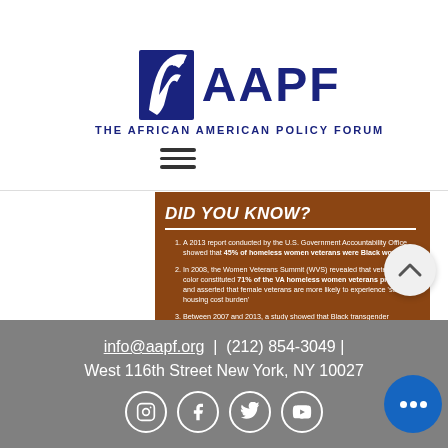[Figure (logo): AAPF - The African American Policy Forum logo with eagle icon]
THE AFRICAN AMERICAN POLICY FORUM
DID YOU KNOW?
A 2013 report conducted by the U.S. Government Accountability Office showed that 45% of homeless women veterans were Black women.
In 2008, the Women Veterans Summit (WVS) revealed that veterans of color constituted 71% of the VA homeless women veterans program, and asserted that female veterans are more likely to experience 'severe housing cost burden'
Between 2007 and 2013, a study showed that Black transgender veterans were more almost twice as likely as cis-gendered veterans to have reported sexual trauma while serving in the military.
Even when they have more years of service, Black women in the military generally hold lower ranks than their white counterparts.
Black women who are sexually traumatized in the military are one of the fastest growing segments of the homeless population.
info@aapf.org | (212) 854-3049 | West 116th Street New York, NY 10027